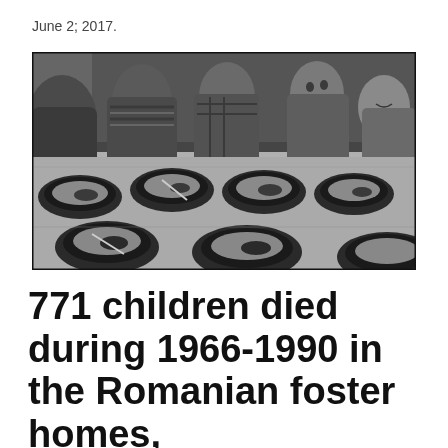June 2; 2017.
[Figure (photo): Black and white photograph of several young boys sitting at a table eating from bowls, in what appears to be an institutional setting (Romanian foster home/orphanage).]
771 children died during 1966-1990 in the Romanian foster homes, IICCMER.Posted by: Alina